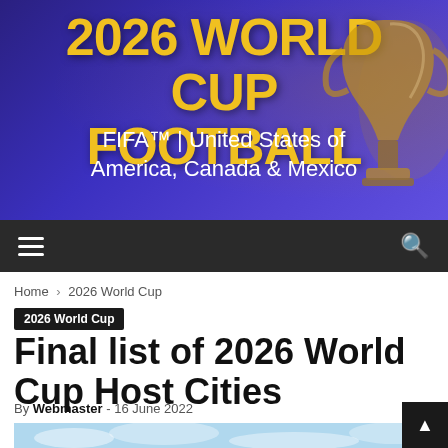[Figure (illustration): Website banner with purple/blue gradient background, gold World Cup trophy on right side, bold gold text reading '2026 WORLD CUP FOOTBALL' and white subtitle 'FIFA™ | United States of America, Canada & Mexico']
Navigation bar with hamburger menu icon and search icon
Home › 2026 World Cup
2026 World Cup
Final list of 2026 World Cup Host Cities
By Webmaster - 16 June 2022
[Figure (photo): Partial view of a blue sky with clouds, beginning of article hero image]